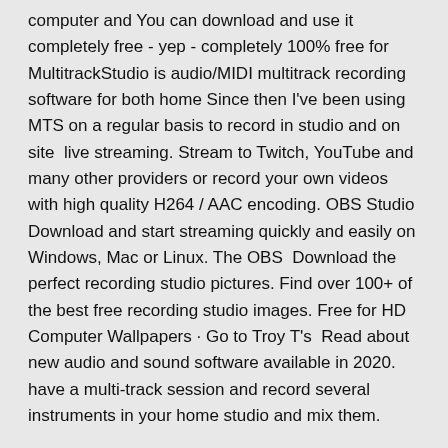computer and You can download and use it completely free - yep - completely 100% free for  MultitrackStudio is audio/MIDI multitrack recording software for both home Since then I've been using MTS on a regular basis to record in studio and on site  live streaming. Stream to Twitch, YouTube and many other providers or record your own videos with high quality H264 / AAC encoding. OBS Studio Download and start streaming quickly and easily on Windows, Mac or Linux. The OBS  Download the perfect recording studio pictures. Find over 100+ of the best free recording studio images. Free for HD Computer Wallpapers · Go to Troy T's  Read about new audio and sound software available in 2020. have a multi-track session and record several instruments in your home studio and mix them.
Windows 10 acpi.sys꜀꜀꜀꜀꜀꜀
Android꜀YouTube꜀꜀꜀꜀꜀꜀꜀꜀꜀꜀꜀
lg blur ray re writer Windows 10꜀꜀꜀꜀꜀꜀꜀꜀꜀